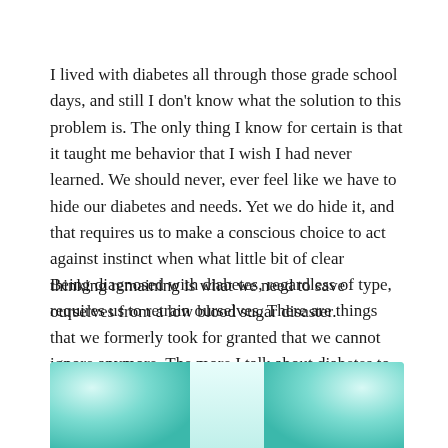I lived with diabetes all through those grade school days, and still I don't know what the solution to this problem is. The only thing I know for certain is that it taught me behavior that I wish I had never learned. We should never, ever feel like we have to hide our diabetes and needs. Yet we do hide it, and that requires us to make a conscious choice to act against instinct when what little bit of clear thinking remaining is what we need to save ourselves from a low blood sugar disaster.
Being diagnosed with diabetes, regardless of type, requires us to retrain ourselves. There are things that we formerly took for granted that we cannot ignore anymore. The more I talk about diabetes to people around me, the more comfortable I get with the idea of sharing what my diabetes needs are. Whatever it takes to get to what we need, we have to remove the barriers, even if those barriers are us.
[Figure (photo): Partial view of a teal/turquoise blurred background image, visible at the bottom of the page, showing two rounded glowing shapes on left and right edges against a light center.]